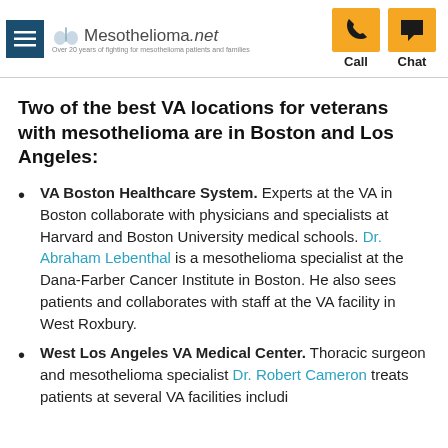Mesothelioma.net — Call / Chat
Two of the best VA locations for veterans with mesothelioma are in Boston and Los Angeles:
VA Boston Healthcare System. Experts at the VA in Boston collaborate with physicians and specialists at Harvard and Boston University medical schools. Dr. Abraham Lebenthal is a mesothelioma specialist at the Dana-Farber Cancer Institute in Boston. He also sees patients and collaborates with staff at the VA facility in West Roxbury.
West Los Angeles VA Medical Center. Thoracic surgeon and mesothelioma specialist Dr. Robert Cameron treats patients at several VA facilities including